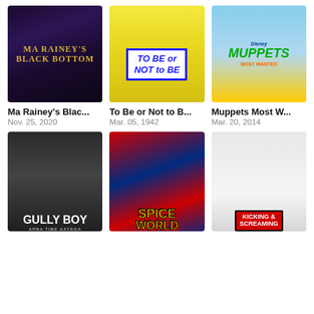[Figure (photo): Movie poster for Ma Rainey's Black Bottom (2020) - dark purple/blue tones with two figures]
[Figure (photo): Movie poster for To Be or Not to Be (1942) - yellow background with actors]
[Figure (photo): Movie poster for Muppets Most Wanted (2014) - blue sky with Muppet characters]
Ma Rainey's Blac...
Nov. 25, 2020
To Be or Not to B...
Mar. 05, 1942
Muppets Most W...
Mar. 20, 2014
[Figure (photo): Movie poster for Gully Boy (2019) - dark urban scene]
[Figure (photo): Movie poster for Spice World (1997) - UK flag background with Spice Girls]
[Figure (photo): Movie poster for Kicking and Screaming (2005) - man in blue tiger suit]
Gully...
Spice...
Kickin...